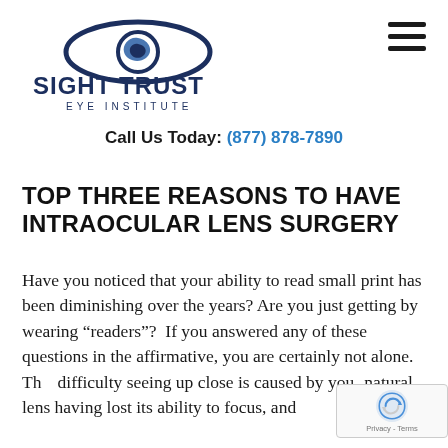[Figure (logo): Sight Trust Eye Institute logo with stylized eye graphic above the text SIGHT TRUST and EYE INSTITUTE]
Call Us Today: (877) 878-7890
TOP THREE REASONS TO HAVE INTRAOCULAR LENS SURGERY
Have you noticed that your ability to read small print has been diminishing over the years? Are you just getting by wearing “readers”?  If you answered any of these questions in the affirmative, you are certainly not alone. This difficulty seeing up close is caused by your natural lens having lost its ability to focus, and
[Figure (logo): reCAPTCHA badge with Privacy - Terms text]